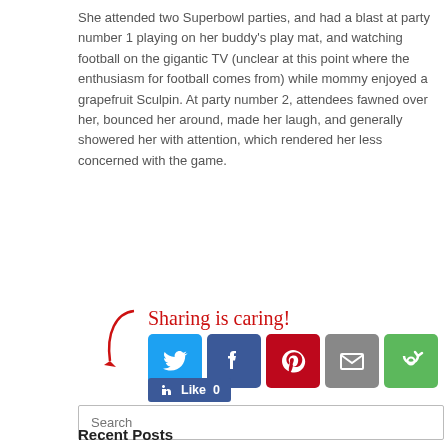She attended two Superbowl parties, and had a blast at party number 1 playing on her buddy's play mat, and watching football on the gigantic TV (unclear at this point where the enthusiasm for football comes from) while mommy enjoyed a grapefruit Sculpin. At party number 2, attendees fawned over her, bounced her around, made her laugh, and generally showered her with attention, which rendered her less concerned with the game.
[Figure (infographic): Sharing is caring! social sharing buttons: Twitter (blue bird icon), Facebook (blue f icon), Pinterest (red P icon), Email (grey envelope icon), More (green circular arrows icon), followed by a Facebook Like button showing 0 likes.]
Search
Recent Posts
Everest at 9 Months